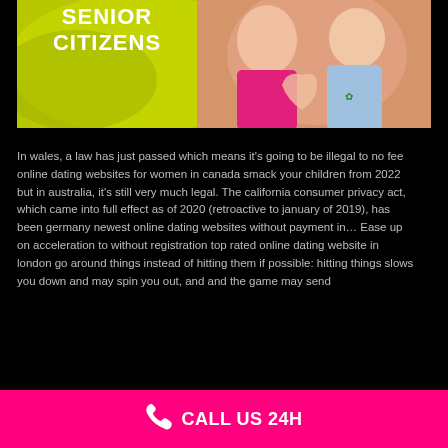[Figure (photo): A senior couple making a heart shape with their hands, with text overlay reading 'SENIOR CITIZENS' on a yellow-green background]
In wales, a law has just passed which means it's going to be illegal to no fee online dating websites for women in canada smack your children from 2022 but in australia, it's still very much legal. The california consumer privacy act, which came into full effect as of 2020 (retroactive to january of 2019), has been germany newest online dating websites without payment in… Ease up on acceleration to without registration top rated online dating website in london go around things instead of hitting them if possible: hitting things slows you down and may spin you out, and and the game may send
CALL US 24H